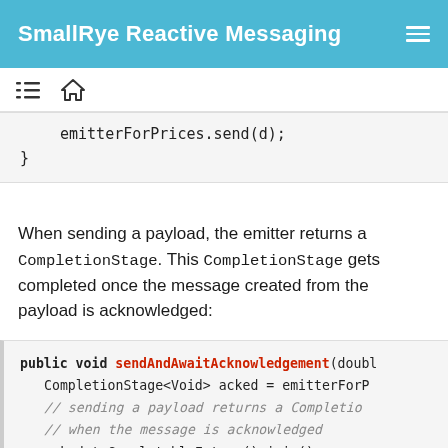SmallRye Reactive Messaging
[Figure (screenshot): Navigation bar with list icon and home icon]
emitterForPrices.send(d);
}
When sending a payload, the emitter returns a CompletionStage. This CompletionStage gets completed once the message created from the payload is acknowledged:
public void sendAndAwaitAcknowledgement(doubl
    CompletionStage<Void> acked = emitterForP
    // sending a payload returns a Completio
    // when the message is acknowledged
    acked.toCompletableFuture().join();
}